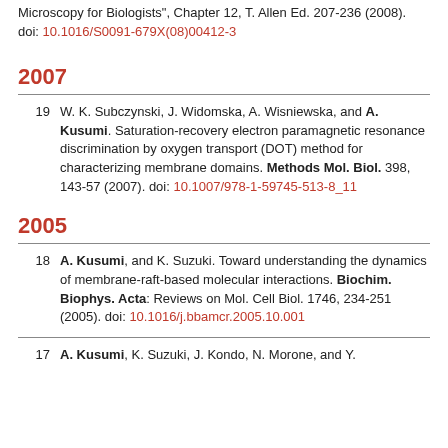Microscopy for Biologists", Chapter 12, T. Allen Ed. 207-236 (2008). doi: 10.1016/S0091-679X(08)00412-3
2007
19  W. K. Subczynski, J. Widomska, A. Wisniewska, and A. Kusumi. Saturation-recovery electron paramagnetic resonance discrimination by oxygen transport (DOT) method for characterizing membrane domains. Methods Mol. Biol. 398, 143-57 (2007). doi: 10.1007/978-1-59745-513-8_11
2005
18  A. Kusumi, and K. Suzuki. Toward understanding the dynamics of membrane-raft-based molecular interactions. Biochim. Biophys. Acta: Reviews on Mol. Cell Biol. 1746, 234-251 (2005). doi: 10.1016/j.bbamcr.2005.10.001
17  A. Kusumi, K. Suzuki, J. Kondo, N. Morone, and Y.